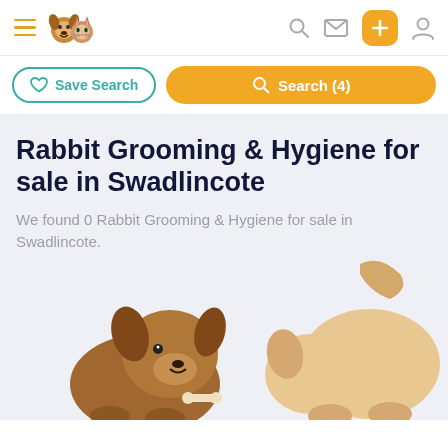[Figure (screenshot): Website header with hamburger menu, pet logo (dog and cat), and navigation icons (search, message, add, profile)]
[Figure (screenshot): Search action bar with Save Search button (teal outline) and Search (4) button (orange/yellow)]
Rabbit Grooming & Hygiene for sale in Swadlincote
We found 0 Rabbit Grooming & Hygiene for sale in Swadlincote.
[Figure (illustration): Illustrated dogs playing — a brown dog and a light tan/cream dog partially visible at bottom of the page, on a light blue-grey background]